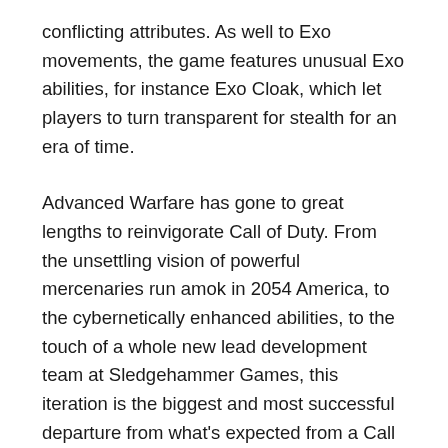conflicting attributes. As well to Exo movements, the game features unusual Exo abilities, for instance Exo Cloak, which let players to turn transparent for stealth for an era of time.
Advanced Warfare has gone to great lengths to reinvigorate Call of Duty. From the unsettling vision of powerful mercenaries run amok in 2054 America, to the cybernetically enhanced abilities, to the touch of a whole new lead development team at Sledgehammer Games, this iteration is the biggest and most successful departure from what's expected from a Call of Duty game since Modern Warfare brought the series into the 21st century. Advanced Warfare definitely hasn't discarded the excellent, fast-paced run-and-gun shooting that made Call of Duty a household name; instead, it's taken that strength and committed itself completely to the idea that mobility and flexibility are king, making it faster and more focused than any Call of Duty